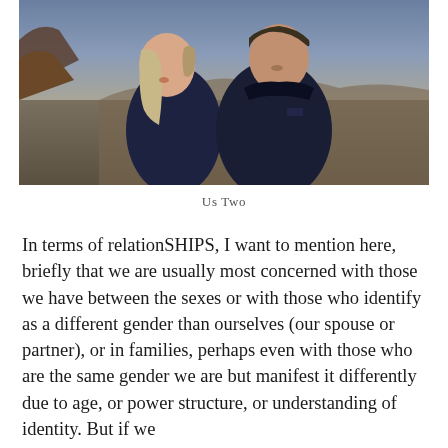[Figure (photo): Two people in dark navy fleece jackets standing outdoors with rocky landscape and wide open terrain in the background. They are looking upward and smiling.]
Us Two
In terms of relationSHIPS, I want to mention here, briefly that we are usually most concerned with those we have between the sexes or with those who identify as a different gender than ourselves (our spouse or partner), or in families, perhaps even with those who are the same gender we are but manifest it differently due to age, or power structure, or understanding of identity. But if we